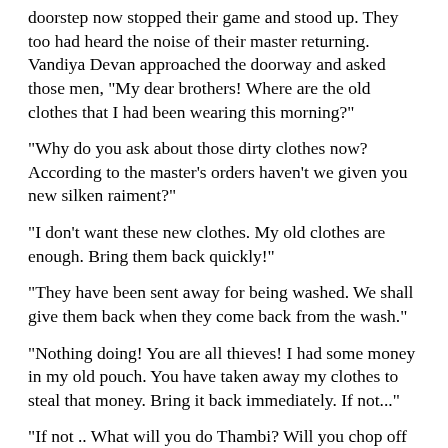doorstep now stopped their game and stood up. They too had heard the noise of their master returning. Vandiya Devan approached the doorway and asked those men, "My dear brothers! Where are the old clothes that I had been wearing this morning?"
"Why do you ask about those dirty clothes now? According to the master's orders haven't we given you new silken raiment?"
"I don't want these new clothes. My old clothes are enough. Bring them back quickly!"
"They have been sent away for being washed. We shall give them back when they come back from the wash."
"Nothing doing! You are all thieves! I had some money in my old pouch. You have taken away my clothes to steal that money. Bring it back immediately. If not..."
"If not .. What will you do Thambi? Will you chop off my head and send it to Tanjore? But this is Tanjore! Don't forget that!" laughed the man.
"Hey fellah! Are you going to bring back my clothes immediately or not?"
"I can bring them back only if I have them! We threw those dirty